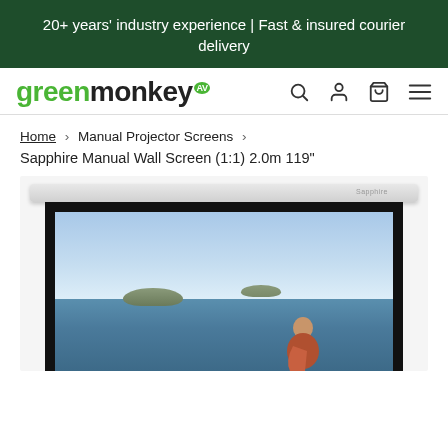20+ years' industry experience | Fast & insured courier delivery
[Figure (logo): Green Monkey AV logo with search, account, cart and menu icons]
Home > Manual Projector Screens > Sapphire Manual Wall Screen (1:1) 2.0m 119"
[Figure (photo): Sapphire Manual Wall Screen (1:1) 2.0m 119 inch projector screen showing a coastal scene with sky, sea, islands and person]